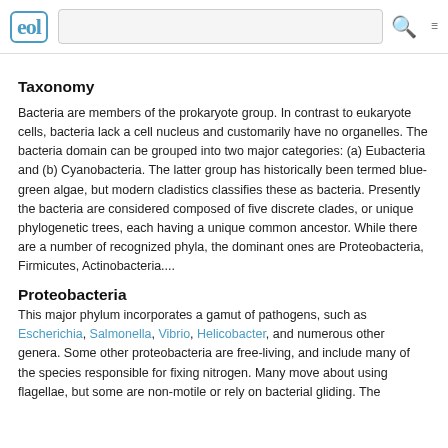eol [logo] [search bar] [search icon] [menu icon]
Taxonomy
Bacteria are members of the prokaryote group. In contrast to eukaryote cells, bacteria lack a cell nucleus and customarily have no organelles. The bacteria domain can be grouped into two major categories: (a) Eubacteria and (b) Cyanobacteria. The latter group has historically been termed blue-green algae, but modern cladistics classifies these as bacteria. Presently the bacteria are considered composed of five discrete clades, or unique phylogenetic trees, each having a unique common ancestor. While there are a number of recognized phyla, the dominant ones are Proteobacteria, Firmicutes, Actinobacteria....
Proteobacteria
This major phylum incorporates a gamut of pathogens, such as Escherichia, Salmonella, Vibrio, Helicobacter, and numerous other genera. Some other proteobacteria are free-living, and include many of the species responsible for fixing nitrogen. Many move about using flagellae, but some are non-motile or rely on bacterial gliding. The